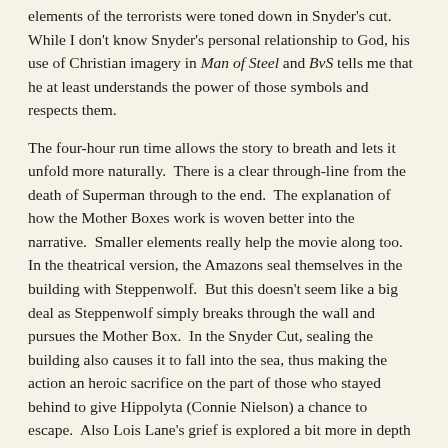elements of the terrorists were toned down in Snyder's cut.  While I don't know Snyder's personal relationship to God, his use of Christian imagery in Man of Steel and BvS tells me that he at least understands the power of those symbols and respects them.
The four-hour run time allows the story to breath and lets it unfold more naturally.  There is a clear through-line from the death of Superman through to the end.  The explanation of how the Mother Boxes work is woven better into the narrative.  Smaller elements really help the movie along too.  In the theatrical version, the Amazons seal themselves in the building with Steppenwolf.  But this doesn't seem like a big deal as Steppenwolf simply breaks through the wall and pursues the Mother Box.  In the Snyder Cut, sealing the building also causes it to fall into the sea, thus making the action an heroic sacrifice on the part of those who stayed behind to give Hippolyta (Connie Nielson) a chance to escape.  Also Lois Lane's grief is explored a bit more in depth and how she is having trouble moving on after Clark's death.  She also has a more complete character arc in this film rather than her being simply an emotional control on Superman.
Something else I thought was very interesting was the lack of conflict within the League itself.  In Whedon's cut, the team almost